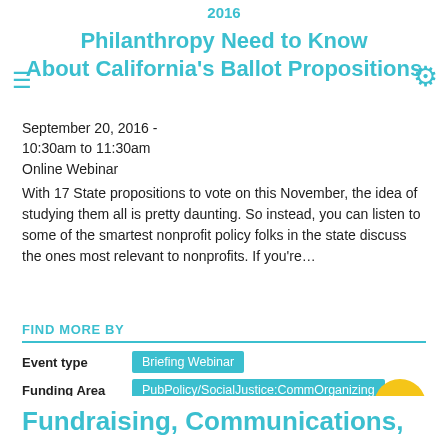2016 Philanthropy Need to Know About California's Ballot Propositions
September 20, 2016 - 10:30am to 11:30am
Online Webinar
With 17 State propositions to vote on this November, the idea of studying them all is pretty daunting. So instead, you can listen to some of the smartest nonprofit policy folks in the state discuss the ones most relevant to nonprofits. If you're…
FIND MORE BY
Event type: Briefing Webinar
Funding Area: PubPolicy/SocialJustice:CommOrganizing, Economic & Community Development, Public Policy & Social Justice
Fundraising, Communications,